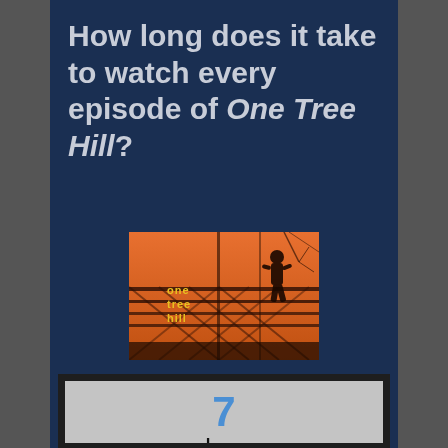How long does it take to watch every episode of One Tree Hill?
[Figure (photo): Promotional image for the TV show 'One Tree Hill' showing orange/amber toned scene with silhouette of person walking on a fence/bridge structure, with show logo text 'one tree hill' overlaid]
7 days
19